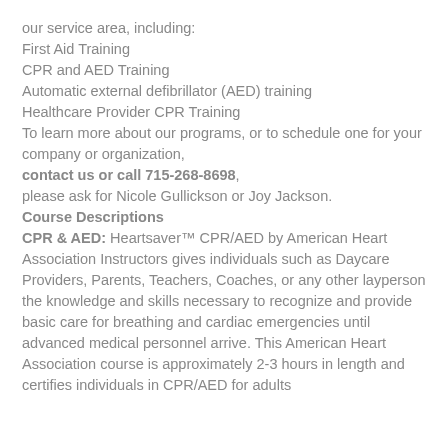our service area, including:
First Aid Training
CPR and AED Training
Automatic external defibrillator (AED) training
Healthcare Provider CPR Training
To learn more about our programs, or to schedule one for your company or organization, contact us or call 715-268-8698, please ask for Nicole Gullickson or Joy Jackson.
Course Descriptions
CPR & AED: Heartsaver™ CPR/AED by American Heart Association Instructors gives individuals such as Daycare Providers, Parents, Teachers, Coaches, or any other layperson the knowledge and skills necessary to recognize and provide basic care for breathing and cardiac emergencies until advanced medical personnel arrive. This American Heart Association course is approximately 2-3 hours in length and certifies individuals in CPR/AED for adults